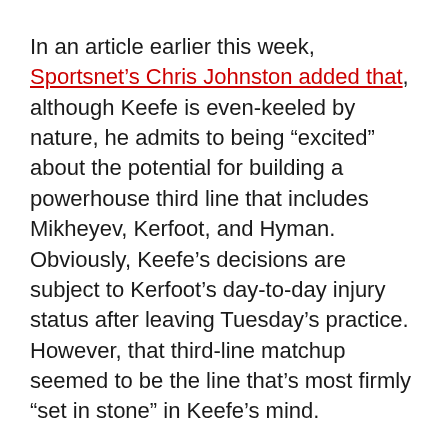In an article earlier this week, Sportsnet's Chris Johnston added that, although Keefe is even-keeled by nature, he admits to being “excited” about the potential for building a powerhouse third line that includes Mikheyev, Kerfoot, and Hyman. Obviously, Keefe’s decisions are subject to Kerfoot’s day-to-day injury status after leaving Tuesday’s practice. However, that third-line matchup seemed to be the line that’s most firmly “set in stone” in Keefe’s mind.